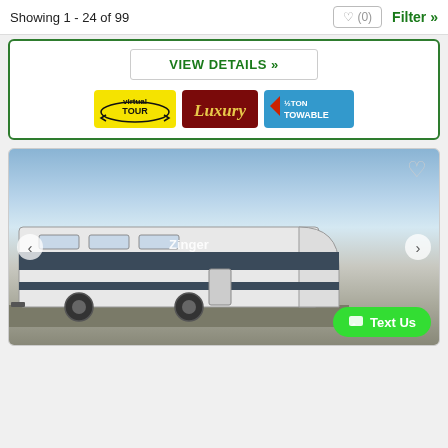Showing 1 - 24 of 99
VIEW DETAILS »
[Figure (logo): Three badges: Virtual Tour (yellow), Luxury (dark red), 1/2 Ton Towable (blue)]
[Figure (photo): Travel trailer / RV (Zinger brand) parked outdoors with blue sky, shown with navigation arrows and a 'Text Us' button overlay]